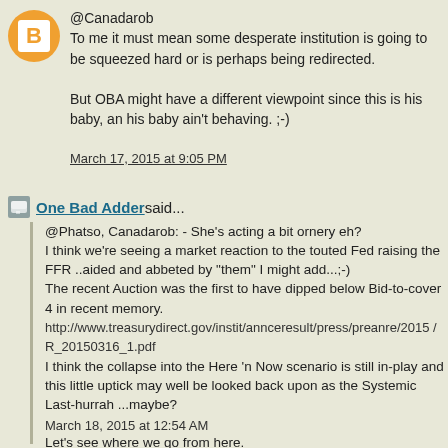@Canadarob
To me it must mean some desperate institution is going to be squeezed hard or is perhaps being redirected.

But OBA might have a different viewpoint since this is his baby, and his baby ain't behaving. ;-)
March 17, 2015 at 9:05 PM
One Bad Adder said...
@Phatso, Canadarob: - She's acting a bit ornery eh?
I think we're seeing a market reaction to the touted Fed raising the FFR ..aided and abbeted by "them" I might add...;-)
The recent Auction was the first to have dipped below Bid-to-cover 4 in recent memory.
http://www.treasurydirect.gov/instit/annceresult/press/preanre/2015/R_20150316_1.pdf
I think the collapse into the Here 'n Now scenario is still in-play and this little uptick may well be looked back upon as the Systemic Last-hurrah ...maybe?

Let's see where we go from here.
March 18, 2015 at 12:54 AM